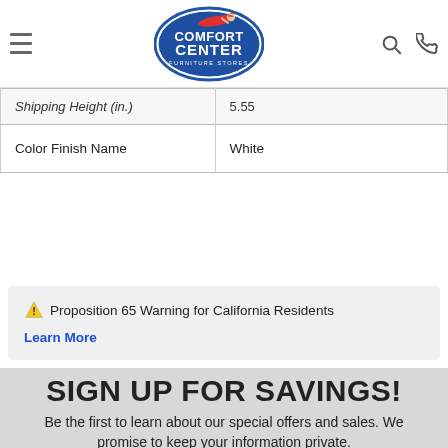Comfort Center Furniture Stores
| Shipping Height (in.) | 5.55 |
| Color Finish Name | White |
⚠ Proposition 65 Warning for California Residents
Learn More
SIGN UP FOR SAVINGS!
Be the first to learn about our special offers and sales. We promise to keep your information private.